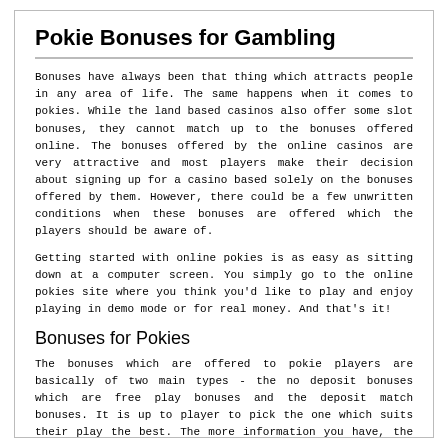Pokie Bonuses for Gambling
Bonuses have always been that thing which attracts people in any area of life. The same happens when it comes to pokies. While the land based casinos also offer some slot bonuses, they cannot match up to the bonuses offered online. The bonuses offered by the online casinos are very attractive and most players make their decision about signing up for a casino based solely on the bonuses offered by them. However, there could be a few unwritten conditions when these bonuses are offered which the players should be aware of.
Getting started with online pokies is as easy as sitting down at a computer screen. You simply go to the online pokies site where you think you'd like to play and enjoy playing in demo mode or for real money. And that's it!
Bonuses for Pokies
The bonuses which are offered to pokie players are basically of two main types - the no deposit bonuses which are free play bonuses and the deposit match bonuses. It is up to player to pick the one which suits their play the best. The more information you have, the easier it would be for you to make a right decision.
No Deposit Bonus
The no deposit bonuses are very attractive since they are very flexible and also...